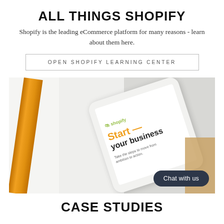ALL THINGS SHOPIFY
Shopify is the leading eCommerce platform for many reasons - learn about them here.
OPEN SHOPIFY LEARNING CENTER
[Figure (photo): A white smartphone displaying the Shopify 'Start your business' landing page, resting on an open notebook beside an orange pencil. A dark rounded button labeled 'Chat with us' appears in the bottom right corner.]
CASE STUDIES